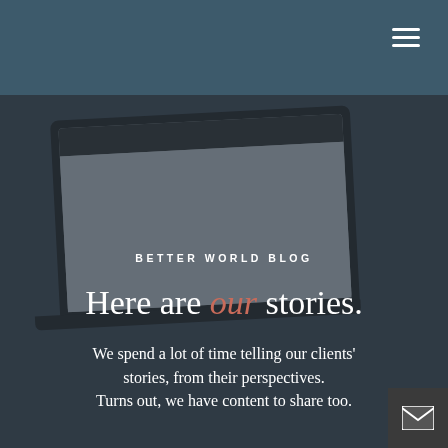[Figure (screenshot): Website screenshot showing a blurred laptop with a webpage, overlaid with dark teal header bar and dark semi-transparent overlay. Top right shows a hamburger menu icon on teal background.]
BETTER WORLD BLOG
Here are our stories.
We spend a lot of time telling our clients' stories, from their perspectives. Turns out, we have content to share too.